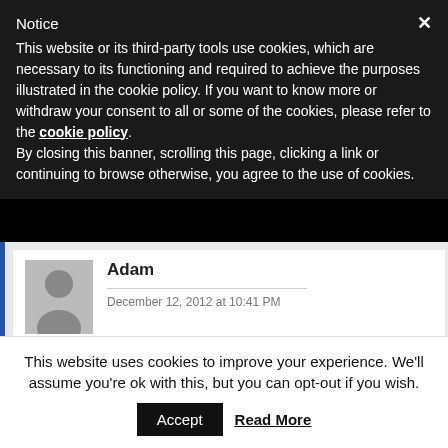Notice
This website or its third-party tools use cookies, which are necessary to its functioning and required to achieve the purposes illustrated in the cookie policy. If you want to know more or withdraw your consent to all or some of the cookies, please refer to the cookie policy.
By closing this banner, scrolling this page, clicking a link or continuing to browse otherwise, you agree to the use of cookies.
Adam
December 12, 2012 at 10:41 PM
Michael I love how you softly disagree about the term "category killer" here. ThermalScanners.com is not a category and it's not
This website uses cookies to improve your experience. We'll assume you're ok with this, but you can opt-out if you wish.
Accept
Read More